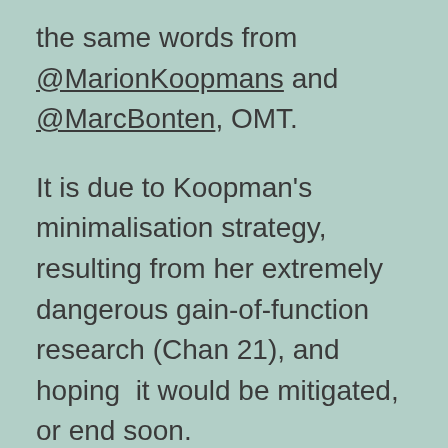the same words from @MarionKoopmans and @MarcBonten, OMT.
It is due to Koopman's minimalisation strategy, resulting from her extremely dangerous gain-of-function research (Chan 21), and hoping it would be mitigated, or end soon.
For her, and us, the citizens, it all turned out differently.
To stop this bullshit I founded Alleburgers, a countervailing force of civil society Other Covid-organisations had a narrow or naive